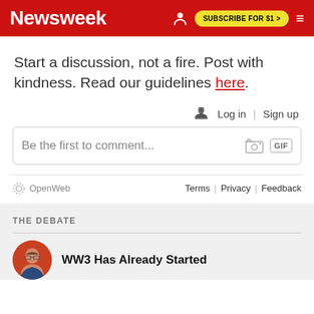Newsweek | SUBSCRIBE FOR $1 >
Start a discussion, not a fire. Post with kindness. Read our guidelines here.
🔔 Log in | Sign up
Be the first to comment...
OpenWeb   Terms | Privacy | Feedback
THE DEBATE
WW3 Has Already Started